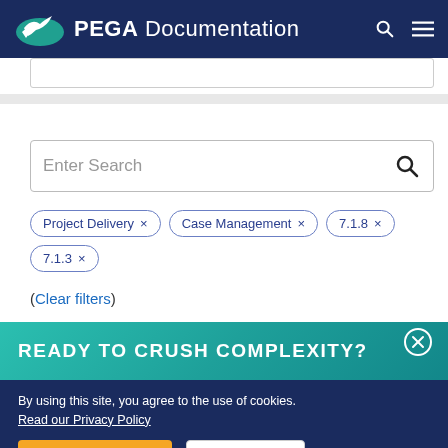PEGA Documentation
[Figure (screenshot): Partially visible search bar at top of page]
[Figure (screenshot): Search input box with placeholder text 'Enter Search' and search icon]
Project Delivery ×
Case Management ×
7.1.8 ×
7.1.3 ×
(Clear filters)
READY TO CRUSH COMPLEXITY?
By using this site, you agree to the use of cookies. Read our Privacy Policy
Accept and continue    About cookies